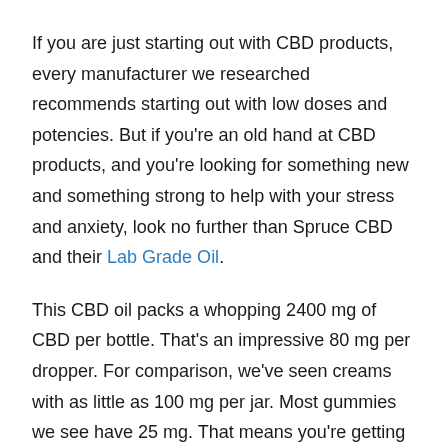If you are just starting out with CBD products, every manufacturer we researched recommends starting out with low doses and potencies. But if you're an old hand at CBD products, and you're looking for something new and something strong to help with your stress and anxiety, look no further than Spruce CBD and their Lab Grade Oil.
This CBD oil packs a whopping 2400 mg of CBD per bottle. That's an impressive 80 mg per dropper. For comparison, we've seen creams with as little as 100 mg per jar. Most gummies we see have 25 mg. That means you're getting over three times the average gummy per drop.